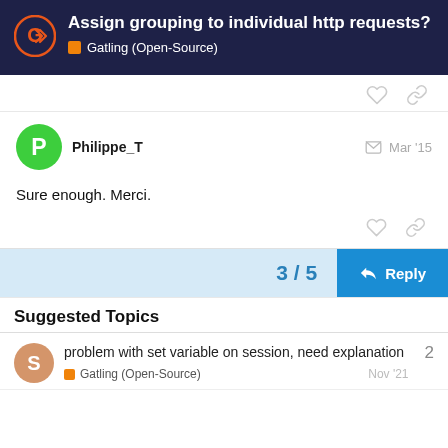Assign grouping to individual http requests? — Gatling (Open-Source)
Philippe_T  Mar '15
Sure enough. Merci.
3 / 5
Suggested Topics
problem with set variable on session, need explanation
Gatling (Open-Source)  Nov '21  2